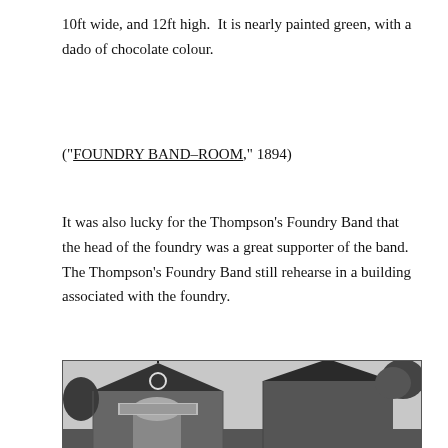10ft wide, and 12ft high.  It is nearly painted green, with a dado of chocolate colour.
("FOUNDRY BAND-ROOM," 1894)
It was also lucky for the Thompson's Foundry Band that the head of the foundry was a great supporter of the band.  The Thompson's Foundry Band still rehearse in a building associated with the foundry.
[Figure (photo): Black and white photograph of a Victorian-era building with a pointed gabled roof, decorative finials, a circular window, and an arched entrance. Trees are visible in the background.]